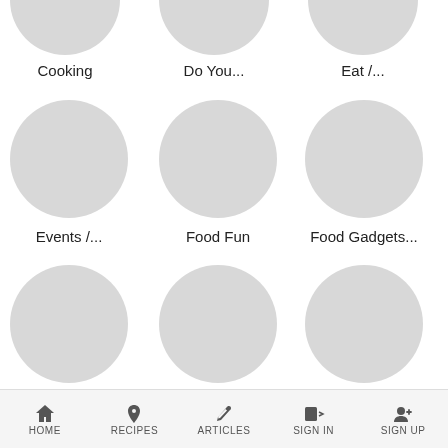[Figure (illustration): Gray circle placeholder for Cooking category]
Cooking
[Figure (illustration): Gray circle placeholder for Do You... category]
Do You...
[Figure (illustration): Gray circle placeholder for Eat /... category]
Eat /...
[Figure (illustration): Gray circle placeholder for Events /... category]
Events /...
[Figure (illustration): Gray circle placeholder for Food Fun category]
Food Fun
[Figure (illustration): Gray circle placeholder for Food Gadgets... category]
Food Gadgets...
[Figure (illustration): Gray circle placeholder for Gifting Ideas category]
Gifting Ideas
[Figure (illustration): Gray circle placeholder for How To's category]
How To's
[Figure (illustration): Gray circle placeholder for News and... category]
News and...
HOME  RECIPES  ARTICLES  SIGN IN  SIGN UP